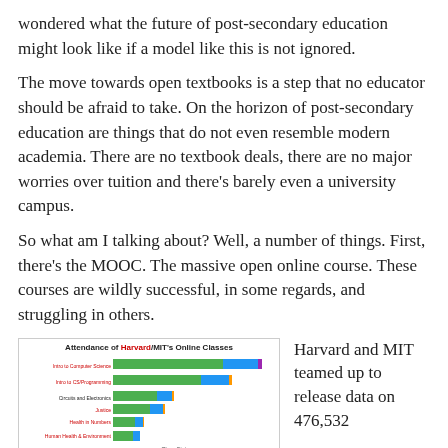wondered what the future of post-secondary education might look like if a model like this is not ignored.
The move towards open textbooks is a step that no educator should be afraid to take. On the horizon of post-secondary education are things that do not even resemble modern academia. There are no textbook deals, there are no major worries over tuition and there's barely even a university campus.
So what am I talking about? Well, a number of things. First, there's the MOOC. The massive open online course. These courses are wildly successful, in some regards, and struggling in others.
[Figure (stacked-bar-chart): Attendance of Harvard/MIT's Online Classes]
Harvard and MIT teamed up to release data on 476,532...